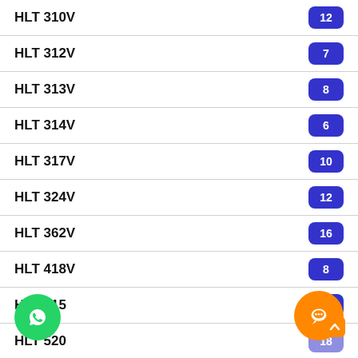HLT 310V
HLT 312V
HLT 313V
HLT 314V
HLT 317V
HLT 324V
HLT 362V
HLT 418V
HLT 515
HLT 520